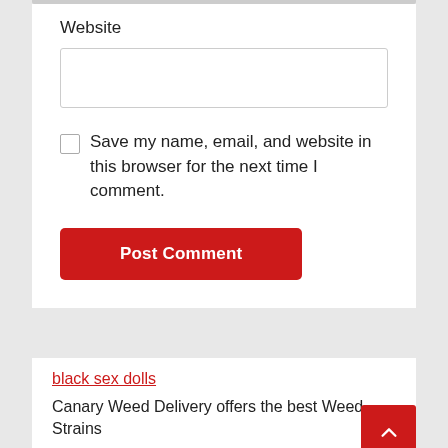Website
[Figure (screenshot): Website text input field (empty, with border)]
[Figure (screenshot): Unchecked checkbox]
Save my name, email, and website in this browser for the next time I comment.
[Figure (screenshot): Post Comment button (red background, white text)]
black sex dolls
Canary Weed Delivery offers the best Weed Strains